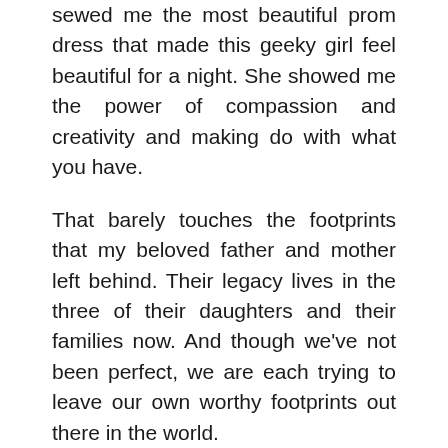sewed me the most beautiful prom dress that made this geeky girl feel beautiful for a night. She showed me the power of compassion and creativity and making do with what you have.
That barely touches the footprints that my beloved father and mother left behind. Their legacy lives in the three of their daughters and their families now. And though we've not been perfect, we are each trying to leave our own worthy footprints out there in the world.
My mother and father taught us what love looks like and sounds like.